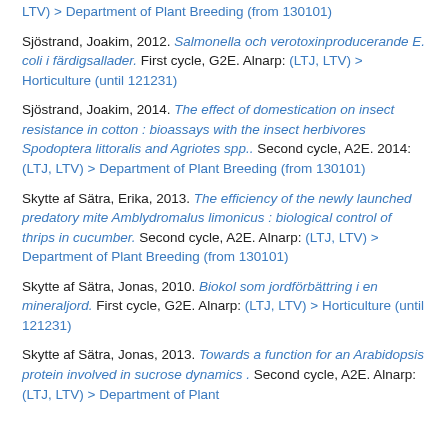LTV) > Department of Plant Breeding (from 130101)
Sjöstrand, Joakim, 2012. Salmonella och verotoxinproducerande E. coli i färdigsallader. First cycle, G2E. Alnarp: (LTJ, LTV) > Horticulture (until 121231)
Sjöstrand, Joakim, 2014. The effect of domestication on insect resistance in cotton : bioassays with the insect herbivores Spodoptera littoralis and Agriotes spp.. Second cycle, A2E. 2014: (LTJ, LTV) > Department of Plant Breeding (from 130101)
Skytte af Sätra, Erika, 2013. The efficiency of the newly launched predatory mite Amblydromalus limonicus : biological control of thrips in cucumber. Second cycle, A2E. Alnarp: (LTJ, LTV) > Department of Plant Breeding (from 130101)
Skytte af Sätra, Jonas, 2010. Biokol som jordförbättring i en mineraljord. First cycle, G2E. Alnarp: (LTJ, LTV) > Horticulture (until 121231)
Skytte af Sätra, Jonas, 2013. Towards a function for an Arabidopsis protein involved in sucrose dynamics . Second cycle, A2E. Alnarp: (LTJ, LTV) > Department of Plant